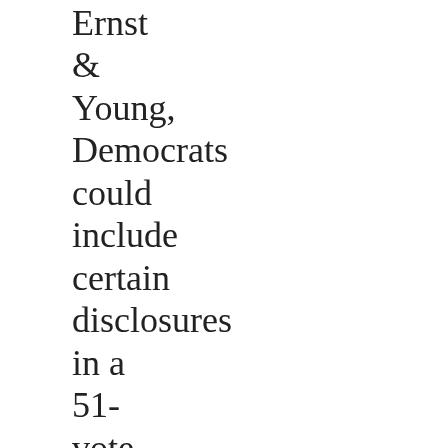Ernst & Young, Democrats could include certain disclosures in a 51-vote budget reconciliation bill, but said “their